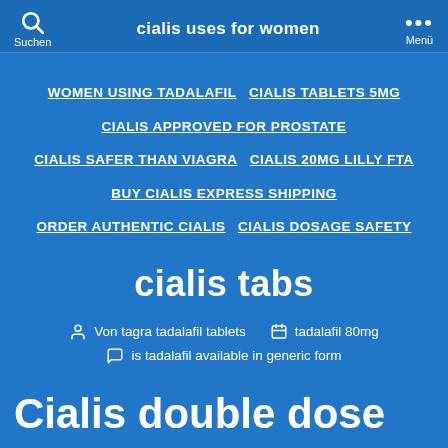cialis uses for women | Suchen | Menü
WOMEN USING TADALAFIL
CIALIS TABLETS 5MG
CIALIS APPROVED FOR PROSTATE
CIALIS SAFER THAN VIAGRA
CIALIS 20MG LILLY FTA
BUY CIALIS EXPRESS SHIPPING
ORDER AUTHENTIC CIALIS
CIALIS DOSAGE SAFETY
cialis tabs
Von tagra tadalafil tablets   tadalafil 80mg
is tadalafil available in generic form
Cialis double dose